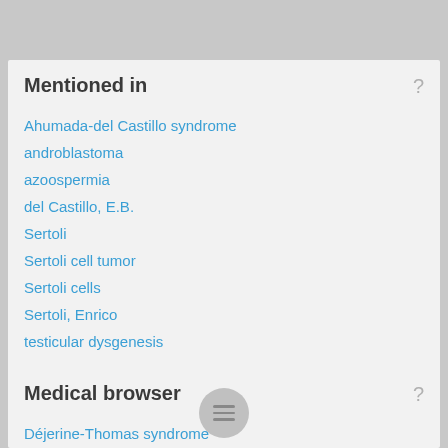Mentioned in
Ahumada-del Castillo syndrome
androblastoma
azoospermia
del Castillo, E.B.
Sertoli
Sertoli cell tumor
Sertoli cells
Sertoli, Enrico
testicular dysgenesis
Medical browser
Déjerine-Thomas syndrome
deka-